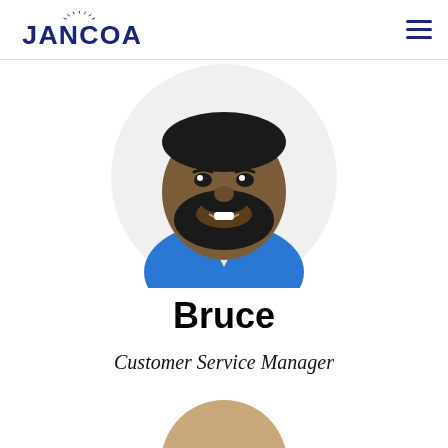[Figure (logo): JANCOA company logo in dark blue with stylized text and sunburst above the letter A]
[Figure (photo): Circular headshot photo of Bruce, a bearded man wearing a blue polo shirt, smiling, on white background]
Bruce
Customer Service Manager
[Figure (photo): Partial circular headshot of a second person at the bottom of the page, cut off]